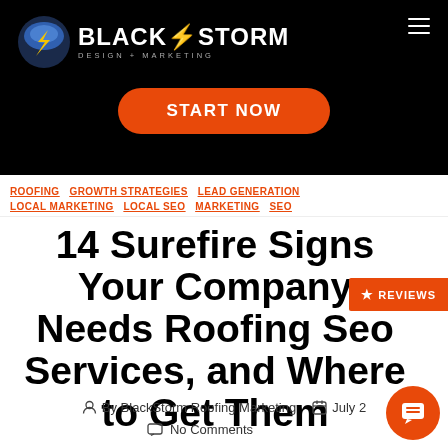BlackStorm Design + Marketing — START NOW
ROOFING  GROWTH STRATEGIES  LEAD GENERATION  LOCAL MARKETING  LOCAL SEO  MARKETING  SEO
14 Surefire Signs Your Company Needs Roofing Seo Services, and Where to Get Them
By BlackStorm Roofing Marketing   July 2[0XX]   No Comments